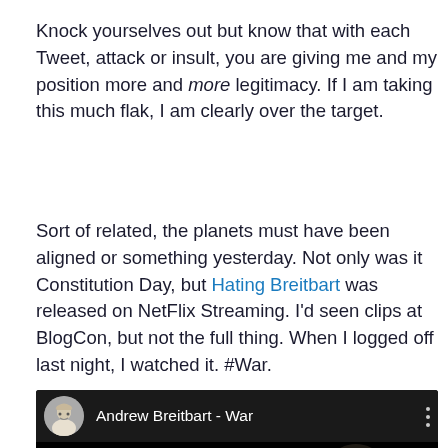Knock yourselves out but know that with each Tweet, attack or insult, you are giving me and my position more and more legitimacy.  If I am taking this much flak, I am clearly over the target.
Sort of related, the planets must have been aligned or something yesterday. Not only was it Constitution Day, but Hating Breitbart was released on NetFlix Streaming. I'd seen clips at BlogCon, but not the full thing. When I logged off last night, I watched it.  #War.
[Figure (screenshot): YouTube video embed showing 'Andrew Breitbart - War' with a YouTube play button overlay on a dark background. The top bar shows a circular avatar (Einstein-like figure) and the video title. A person pointing and another person's face are partially visible in the dark thumbnail.]